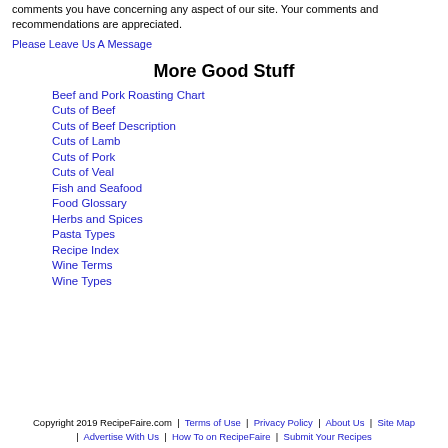comments you have concerning any aspect of our site. Your comments and recommendations are appreciated.
Please Leave Us A Message
More Good Stuff
Beef and Pork Roasting Chart
Cuts of Beef
Cuts of Beef Description
Cuts of Lamb
Cuts of Pork
Cuts of Veal
Fish and Seafood
Food Glossary
Herbs and Spices
Pasta Types
Recipe Index
Wine Terms
Wine Types
Copyright 2019 RecipeFaire.com | Terms of Use | Privacy Policy | About Us | Site Map | Advertise With Us | How To on RecipeFaire | Submit Your Recipes